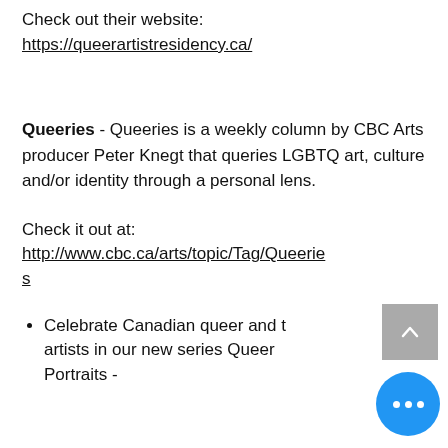Check out their website:
https://queerartistresidency.ca/
Queeries - Queeries is a weekly column by CBC Arts producer Peter Knegt that queries LGBTQ art, culture and/or identity through a personal lens.
Check it out at:
http://www.cbc.ca/arts/topic/Tag/Queeries
Celebrate Canadian queer and t… artists in our new series Queer… Portraits -